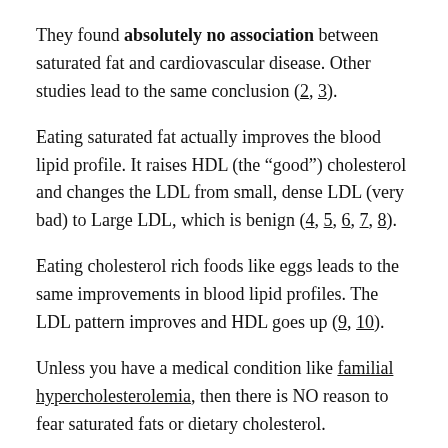They found absolutely no association between saturated fat and cardiovascular disease. Other studies lead to the same conclusion (2, 3).
Eating saturated fat actually improves the blood lipid profile. It raises HDL (the “good”) cholesterol and changes the LDL from small, dense LDL (very bad) to Large LDL, which is benign (4, 5, 6, 7, 8).
Eating cholesterol rich foods like eggs leads to the same improvements in blood lipid profiles. The LDL pattern improves and HDL goes up (9, 10).
Unless you have a medical condition like familial hypercholesterolemia, then there is NO reason to fear saturated fats or dietary cholesterol.
Bottom Line: Neither saturated fat nor